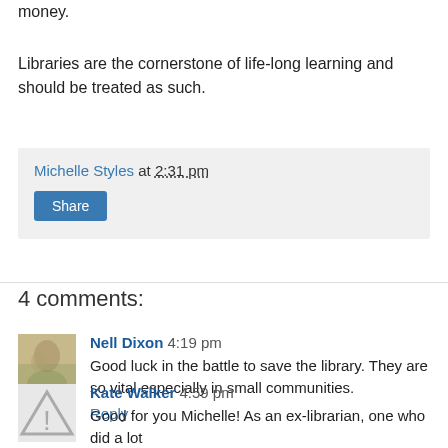money.
Libraries are the cornerstone of life-long learning and should be treated as such.
Michelle Styles at 2:31 pm
Share
4 comments:
Nell Dixon 4:19 pm
Good luck in the battle to save the library. They are so vital especially in small communities.
Reply
Kate Walker 4:59 pm
Good for you Michelle! As an ex-librarian, one who did a lot of work in the village library, it does make me sad th...